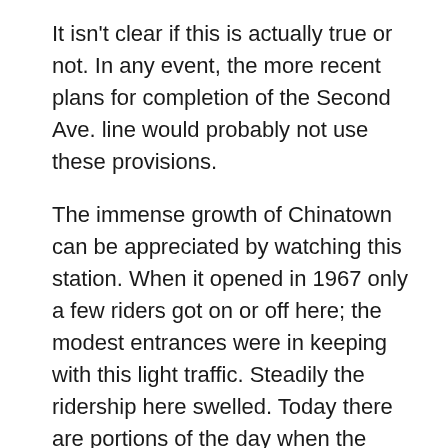It isn't clear if this is actually true or not. In any event, the more recent plans for completion of the Second Ave. line would probably not use these provisions.
The immense growth of Chinatown can be appreciated by watching this station. When it opened in 1967 only a few riders got on or off here; the modest entrances were in keeping with this light traffic. Steadily the ridership here swelled. Today there are portions of the day when the platform is filled end to end with people pressed against the wall and toeing the platform edge.
After Grand Street, the trains from the IND 6th Avenue Subway cross the Manhattan Bridge